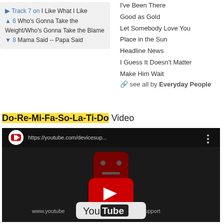Track 7 on I Like What I Like
6 Who's Gonna Take the Weight/Who's Gonna Take the Blame
8 Mama Said -- Papa Said
I've Been There
Good as Gold
Let Somebody Love You
Place in the Sun
Headline News
I Guess It Doesn't Matter
Make Him Wait
see all by Everyday People
Do-Re-Mi-Fa-So-La-Ti-Do Video
[Figure (screenshot): Embedded YouTube video player showing a device support error page at https://youtube.com/devicesup... with YouTube logo and play button]
https://youtube.com/devicesupport; (video from YouTube)